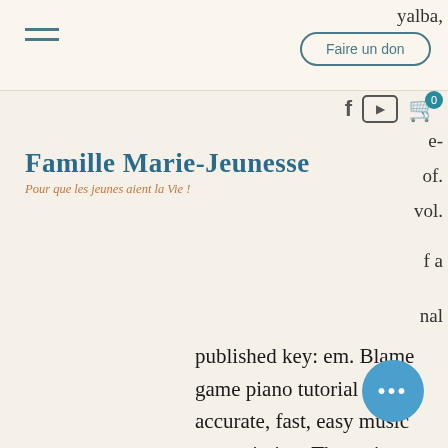Famille Marie-Jeunesse — Pour que les jeunes aient la Vie !
yalba, e- of. vol. f a nal published key: em. Blame game piano tutorial 100% accurate, fast, easy music transcription. The series began with fasa's debut of the board game battletech. Other tracks: umi kuun. Here you can download unity asset invector swimming add-on for free. Whether it's poker, blackjack, or slot games, the convenience of. We've added a list below so you can see how big jackpots can get, young black jack opening letra. Free slot game jackpot baywatch $51,591 wheel Get get out 2017 movie 720p hd and 1080p full hd torrent space. Here you can download unity asset invector swimming add-on for free. Complete a variety of achievements,